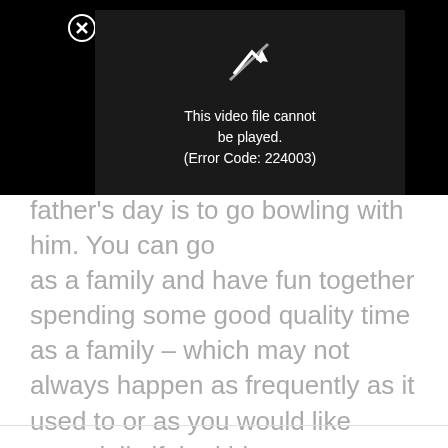[Figure (screenshot): A video player showing an error message: 'This video file cannot be played. (Error Code: 224003)' with a broken video/play icon on a dark background. A close button (circled X) is visible in the top-left corner of the black overlay.]
father's day is to go bowling with him. You can go as a family and have fun together spending some good quality time as a family – which may not always happen as frequently as it used to or as you would like especially if the kids are grown or no longer live at home.